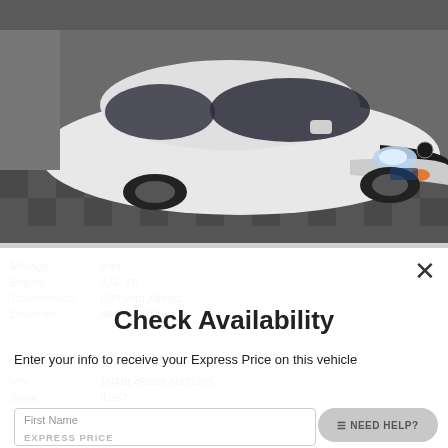[Figure (photo): White Nissan Altima sedan photographed from front-left angle in a showroom with checkered tile floor. Car is white with dark trim, LED headlights on.]
Mileage  6 mi
Engine  3.5L V6
Transmission  CVT with Xtronic
Drivetrain  All-Wheel Drive
Check Availability
Enter your info to receive your Express Price on this vehicle
VIN  1N4BL4BW2LN321785
Stock  IL357
First Name
NEED HELP?
EXPRESS PRICE